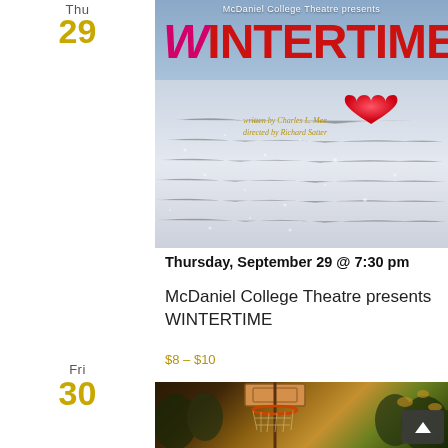Thu
29
[Figure (photo): Wintertime theatrical poster showing a red heart on snowy background with magenta and red title 'WINTERTIME', written by Charles L. Mee, directed by Richard Satter, presented by McDaniel College Theatre]
Thursday, September 29 @ 7:30 pm
McDaniel College Theatre presents WINTERTIME
$8 – $10
Fri
30
[Figure (photo): Outdoor basketball hoop viewed from below against a sky with trees]